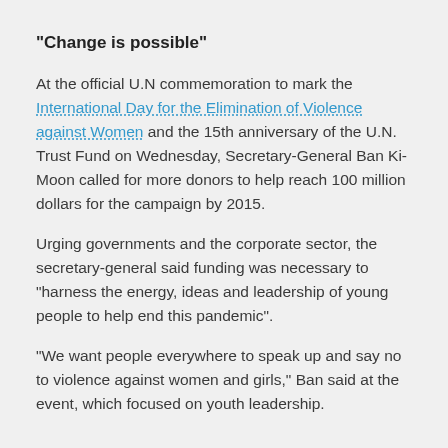“Change is possible”
At the official U.N commemoration to mark the International Day for the Elimination of Violence against Women and the 15th anniversary of the U.N. Trust Fund on Wednesday, Secretary-General Ban Ki-Moon called for more donors to help reach 100 million dollars for the campaign by 2015.
Urging governments and the corporate sector, the secretary-general said funding was necessary to “harness the energy, ideas and leadership of young people to help end this pandemic”.
“We want people everywhere to speak up and say no to violence against women and girls,” Ban said at the event, which focused on youth leadership.